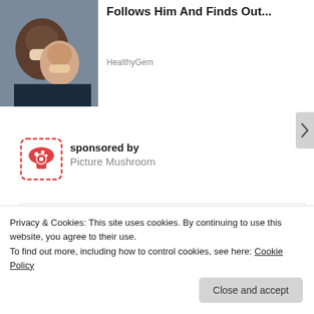Follows Him And Finds Out...
HealthyGem
sponsored by
Picture Mushroom
[Figure (other): Blank white content box placeholder area]
Privacy & Cookies: This site uses cookies. By continuing to use this website, you agree to their use.
To find out more, including how to control cookies, see here: Cookie Policy
Close and accept